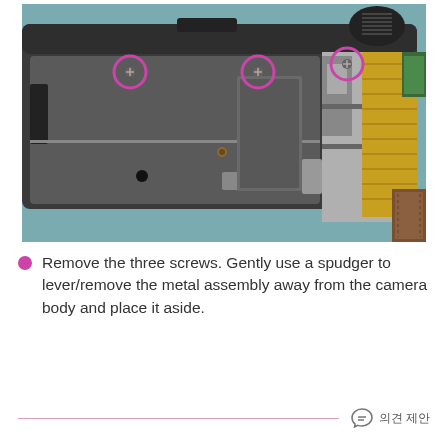[Figure (photo): Disassembled camera showing the bottom metal plate with three pink/magenta circled screws highlighted. The right side shows internal components including flex cables and metal brackets. The camera body sits on a blue/teal surface.]
Remove the three screws. Gently use a spudger to lever/remove the metal assembly away from the camera body and place it aside.
의견 제안